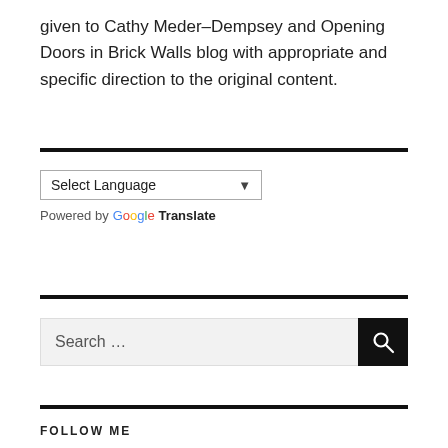given to Cathy Meder–Dempsey and Opening Doors in Brick Walls blog with appropriate and specific direction to the original content.
[Figure (other): Horizontal divider line]
Select Language (dropdown)
Powered by Google Translate
[Figure (other): Horizontal divider line]
Search ...
[Figure (other): Horizontal divider line]
FOLLOW ME